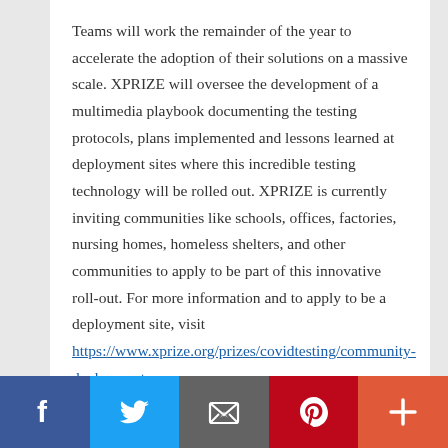Teams will work the remainder of the year to accelerate the adoption of their solutions on a massive scale. XPRIZE will oversee the development of a multimedia playbook documenting the testing protocols, plans implemented and lessons learned at deployment sites where this incredible testing technology will be rolled out. XPRIZE is currently inviting communities like schools, offices, factories, nursing homes, homeless shelters, and other communities to apply to be part of this innovative roll-out. For more information and to apply to be a deployment site, visit https://www.xprize.org/prizes/covidtesting/community-deployment.
[Figure (other): Social sharing bar with five buttons: Facebook (dark blue), Twitter (light blue), Email/envelope (gray), Pinterest (red), and More/plus (orange-red)]